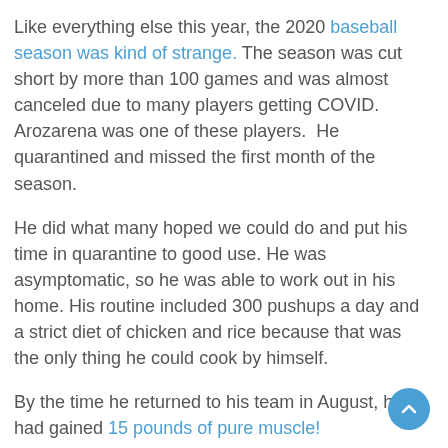Like everything else this year, the 2020 baseball season was kind of strange. The season was cut short by more than 100 games and was almost canceled due to many players getting COVID. Arozarena was one of these players. He quarantined and missed the first month of the season.
He did what many hoped we could do and put his time in quarantine to good use. He was asymptomatic, so he was able to work out in his home. His routine included 300 pushups a day and a strict diet of chicken and rice because that was the only thing he could cook by himself.
By the time he returned to his team in August, he had gained 15 pounds of pure muscle!